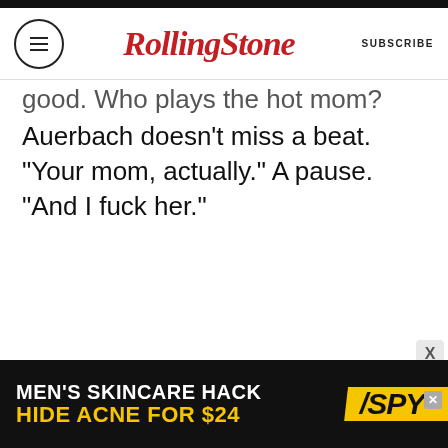Rolling Stone | SUBSCRIBE
good. Who plays the hot mom? Auerbach doesn't miss a beat. “Your mom, actually.” A pause. “And I fuck her.”
[Figure (screenshot): Advertisement banner: MEN'S SKINCARE HACK HIDE ACNE FOR $24 with SPY logo on yellow background]